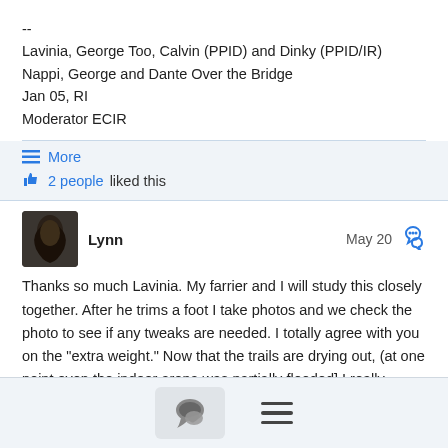--
Lavinia, George Too, Calvin (PPID) and Dinky (PPID/IR)
Nappi, George and Dante Over the Bridge
Jan 05, RI
Moderator ECIR
☰ More
👍 2 people liked this
Lynn
May 20
Thanks so much Lavinia. My farrier and I will study this closely together. After he trims a foot I take photos and we check the photo to see if any tweaks are needed. I totally agree with you on the "extra weight." Now that the trails are drying out, (at one point even the indoor arena was partially flooded] I really believe exercise will be the key for him. Our trails have lots of gentle hills and he seems to have no trouble gaiting up (and down) them.